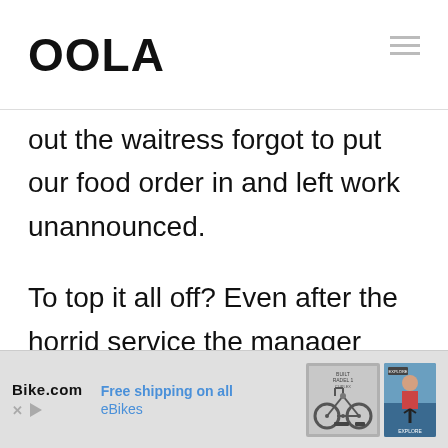OOLA
out the waitress forgot to put our food order in and left work unannounced.
To top it all off? Even after the horrid service the manager wouldn't comp us anything and made us pay for
[Figure (infographic): Bike.com advertisement banner: Free shipping on all eBikes, with bicycle and person images]